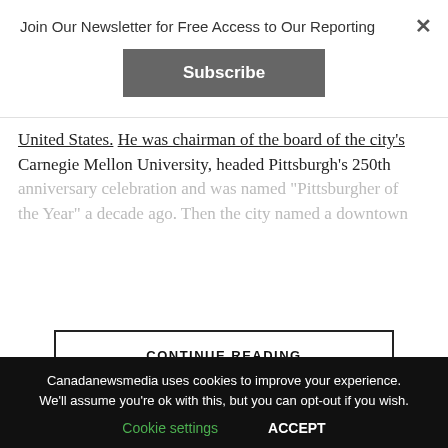Join Our Newsletter for Free Access to Our Reporting
Subscribe
United States. He was chairman of the board of the city's Carnegie Mellon University, headed Pittsburgh's 250th anniversary celebration and was named "Pittsburgher of the Year" a decade ago. Then the city named a downtown
CONTINUE READING
POLITICS
Canadanewsmedia uses cookies to improve your experience. We'll assume you're ok with this, but you can opt-out if you wish.
Cookie settings
ACCEPT